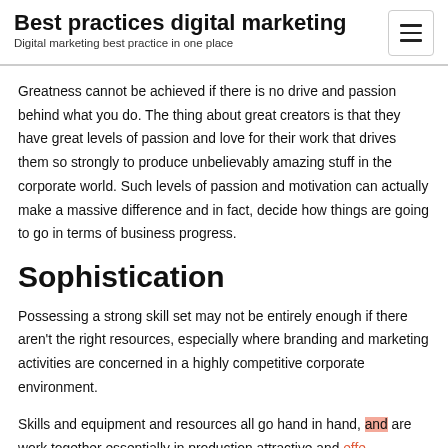Best practices digital marketing
Digital marketing best practice in one place
Greatness cannot be achieved if there is no drive and passion behind what you do. The thing about great creators is that they have great levels of passion and love for their work that drives them so strongly to produce unbelievably amazing stuff in the corporate world. Such levels of passion and motivation can actually make a massive difference and in fact, decide how things are going to go in terms of business progress.
Sophistication
Possessing a strong skill set may not be entirely enough if there aren't the right resources, especially where branding and marketing activities are concerned in a highly competitive corporate environment.
Skills and equipment and resources all go hand in hand, and are work together essentially in production attractive and effective...